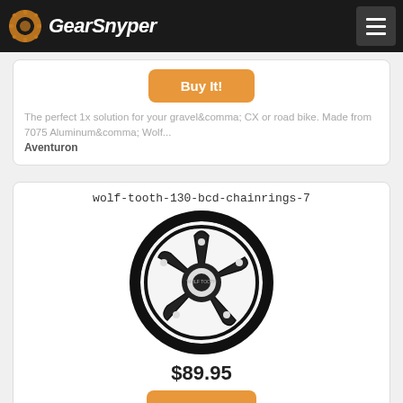GearSnyper
[Figure (other): Buy It! button (orange rounded rectangle)]
The perfect 1x solution for your gravel&amp;comma; CX or road bike. Made from 7075 Aluminum&amp;comma; Wolf...
Aventuron
wolf-tooth-130-bcd-chainrings-7
[Figure (photo): Black bicycle chainring with 5-arm spider design and many teeth around the perimeter — Wolf Tooth 130 BCD chainring]
$89.95
[Figure (other): Buy It! button (orange rounded rectangle)]
The perfect 1x solution for your gravel&amp;comma; CX or road bike. Made from 7075 Aluminum&amp;comma; Wolf...
Aventuron